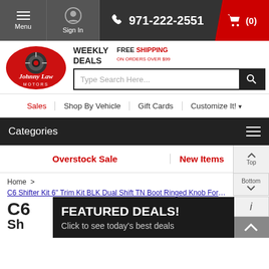Menu | Sign In | 971-222-2551 | Cart (0)
[Figure (logo): Johnny Law Motors logo - red oval with tire graphic and script text]
WEEKLY DEALS
FREE SHIPPING ON ORDERS OVER $99
Type Search Here...
Sales
Shop By Vehicle
Gift Cards
Customize It!
Categories
Overstock Sale
New Items
Home >
C6 Shifter Kit 6" Trim Kit BLK Dual Shift TN Boot Ringed Knob For C7
C6
Sh
FEATURED DEALS! Click to see today's best deals